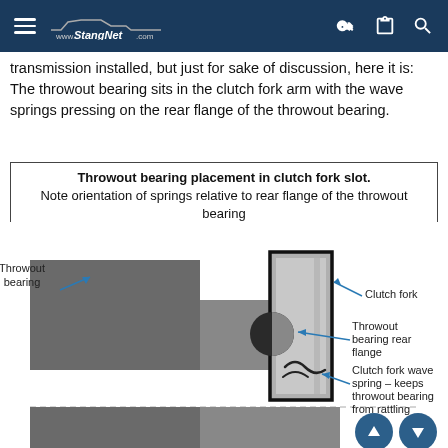www.StangNet.com
transmission installed, but just for sake of discussion, here it is: The throwout bearing sits in the clutch fork arm with the wave springs pressing on the rear flange of the throwout bearing.
Throwout bearing placement in clutch fork slot. Note orientation of springs relative to rear flange of the throwout bearing
[Figure (engineering-diagram): Cross-section diagram showing throwout bearing placement in clutch fork slot. Labels point to: Throwout bearing (left), Clutch fork (top right), Throwout bearing rear flange (middle right), Clutch fork wave spring – keeps throwout bearing from rattling (bottom right).]